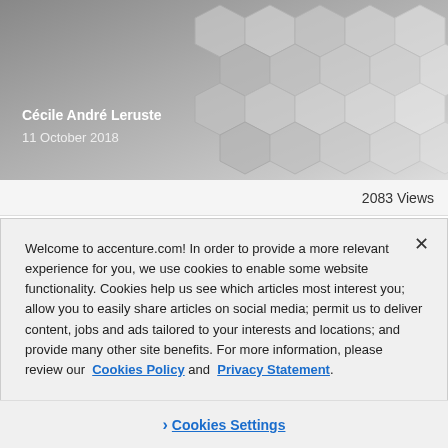[Figure (photo): Hexagon pattern background image with author name Cécile André Leruste and date 11 October 2018 overlaid in white text]
2083 Views
Welcome to accenture.com! In order to provide a more relevant experience for you, we use cookies to enable some website functionality. Cookies help us see which articles most interest you; allow you to easily share articles on social media; permit us to deliver content, jobs and ads tailored to your interests and locations; and provide many other site benefits. For more information, please review our Cookies Policy and Privacy Statement.
Cookies Settings